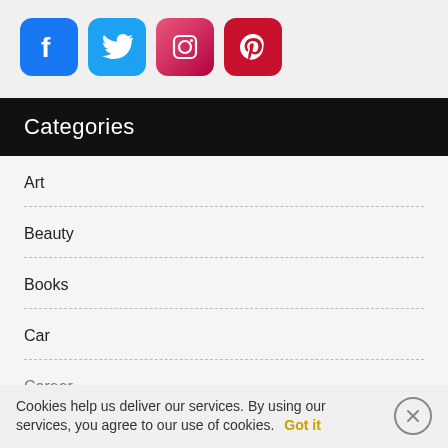[Figure (logo): Social media icons: Facebook (blue), Twitter (light blue), Instagram (pink/red gradient), Pinterest (dark red)]
Categories
Art
Beauty
Books
Car
Career
Cookies help us deliver our services. By using our services, you agree to our use of cookies. Got it